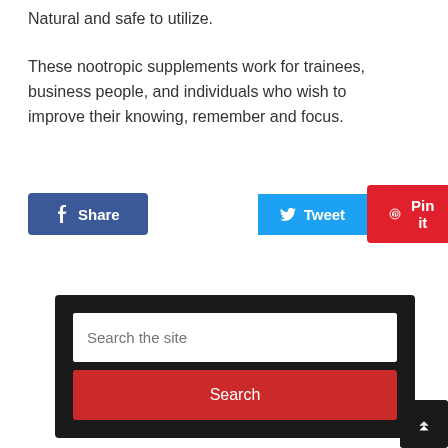Natural and safe to utilize.
These nootropic supplements work for trainees, business people, and individuals who wish to improve their knowing, remember and focus.
[Figure (infographic): Social sharing buttons: Share (Facebook, blue), Tweet (Twitter, light blue), Pin it (Pinterest, red)]
[Figure (screenshot): Search widget with dark background, text input 'Search the site', red Search button, and back-to-top arrow button]